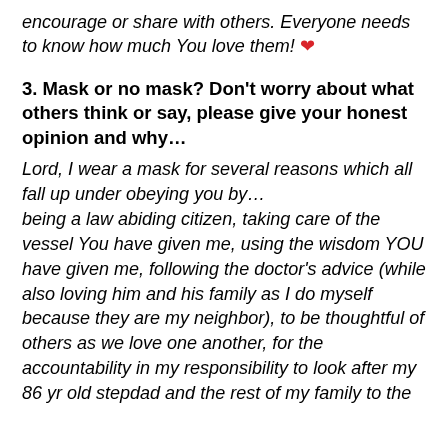encourage or share with others. Everyone needs to know how much You love them! ❤
3. Mask or no mask? Don't worry about what others think or say, please give your honest opinion and why…
Lord, I wear a mask for several reasons which all fall up under obeying you by…
being a law abiding citizen, taking care of the vessel You have given me, using the wisdom YOU have given me, following the doctor's advice (while also loving him and his family as I do myself because they are my neighbor), to be thoughtful of others as we love one another, for the accountability in my responsibility to look after my 86 yr old stepdad and the rest of my family to the